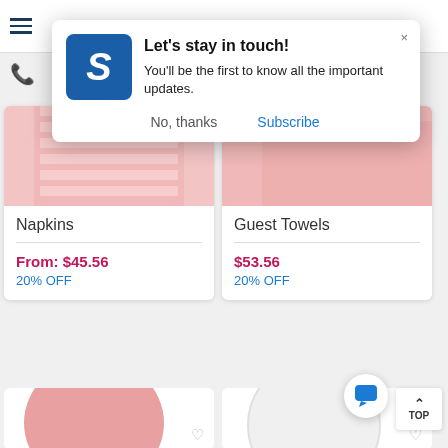[Figure (screenshot): Mobile e-commerce page with a popup notification and product cards for Napkins and Guest Towels]
Let's stay in touch!
You'll be the first to know all the important updates.
No, thanks
Subscribe
Napkins
From: $45.56
20% OFF
Guest Towels
$53.56
20% OFF
TOP